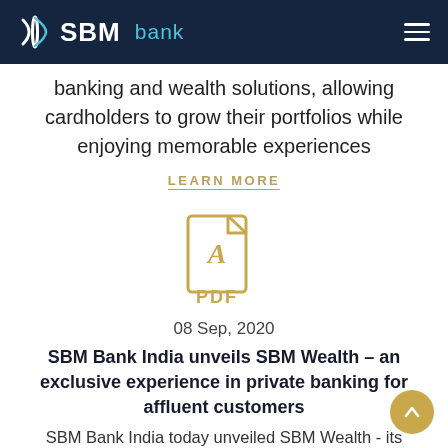SBM bank
banking and wealth solutions, allowing cardholders to grow their portfolios while enjoying memorable experiences
LEARN MORE
[Figure (illustration): PDF file icon in golden/amber color with 'PDF' text label]
08 Sep, 2020
SBM Bank India unveils SBM Wealth – an exclusive experience in private banking for affluent customers
SBM Bank India today unveiled SBM Wealth - its powerfully exclusively designed suite of choicest banking solutions for ultra-high net-worth segment of